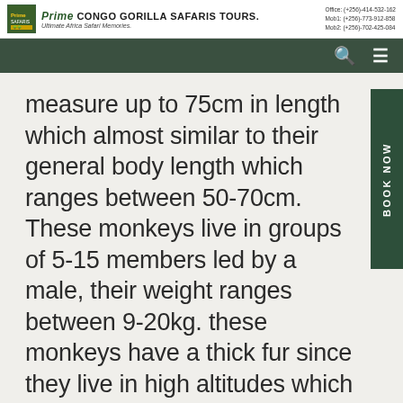Prime CONGO GORILLA SAFARIS TOURS. Ultimate Africa Safari Memories. Office: (+256)-414-532-162 Mob1: (+256)-773-912-858 Mob2: (+256)-702-425-084
measure up to 75cm in length which almost similar to their general body length which ranges between 50-70cm. These monkeys live in groups of 5-15 members led by a male, their weight ranges between 9-20kg. these monkeys have a thick fur since they live in high altitudes which experience cold temperatures. The black and white colobus are herbivores